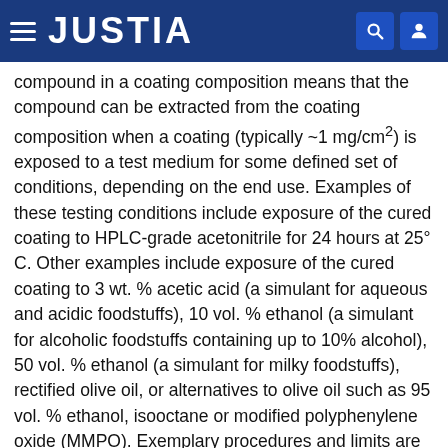JUSTIA
compound in a coating composition means that the compound can be extracted from the coating composition when a coating (typically ~1 mg/cm²) is exposed to a test medium for some defined set of conditions, depending on the end use. Examples of these testing conditions include exposure of the cured coating to HPLC-grade acetonitrile for 24 hours at 25° C. Other examples include exposure of the cured coating to 3 wt. % acetic acid (a simulant for aqueous and acidic foodstuffs), 10 vol. % ethanol (a simulant for alcoholic foodstuffs containing up to 10% alcohol), 50 vol. % ethanol (a simulant for milky foodstuffs), rectified olive oil, or alternatives to olive oil such as 95 vol. % ethanol, isooctane or modified polyphenylene oxide (MMPO). Exemplary procedures and limits are set out in European Union Commission Directives 82/711/EEC, 93/8/EEC and 97/48/EC and in 21 CFR section 175.300.